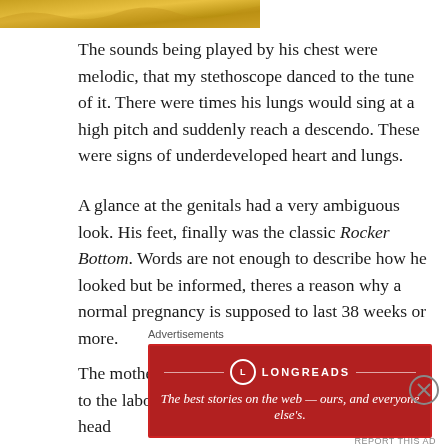[Figure (photo): Partial decorative image at top left corner with gold/yellow tones]
The sounds being played by his chest were melodic, that my stethoscope danced to the tune of it. There were times his lungs would sing at a high pitch and suddenly reach a descendo. These were signs of underdeveloped heart and lungs.
A glance at the genitals had a very ambiguous look. His feet, finally was the classic Rocker Bottom. Words are not enough to describe how he looked but be informed, theres a reason why a normal pregnancy is supposed to last 38 weeks or more.
The mother was the only hope now. A call placed to the labour ward induced the appearance of her head
Advertisements
[Figure (logo): Longreads advertisement banner: red background with Longreads logo and tagline 'The best stories on the web — ours, and everyone else's.']